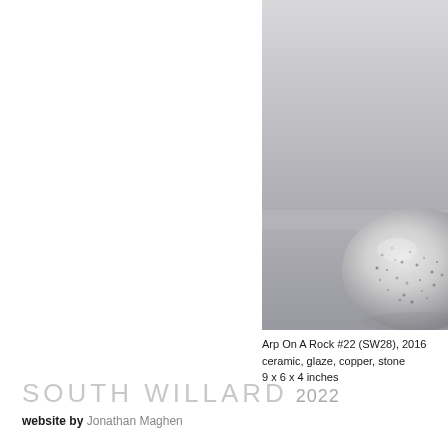[Figure (photo): Photograph of a ceramic sculpture resembling a rock or egg shape with mottled gray-white texture, placed on a flat gray surface against a light gray background. Only the right portion of the sculpture is visible as it is partially cropped at the right edge.]
Arp On A Rock #22 (SW28), 2016
ceramic, glaze, copper, stone
9 x 6 x 4 inches
SOUTH WILLARD 2022
website by Jonathan Maghen